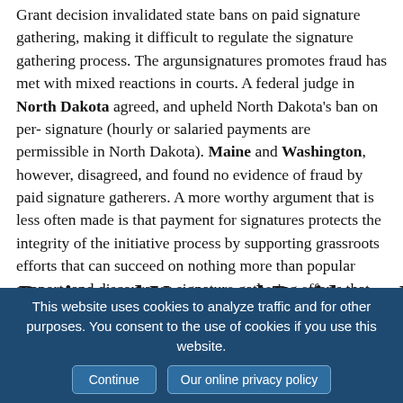Grant decision invalidated state bans on paid signature gatherers, making it difficult to regulate the signature gathering process. The argument that paying for signatures promotes fraud has met with mixed reactions in courts. A federal judge in North Dakota agreed, and upheld North Dakota's ban on per-signature (hourly or salaried payments are permissible in North Dakota). Maine and Washington, however, disagreed, and found no evidence of fraud by paid signature gatherers. A more worthy argument that is less often made is that payment for signatures protects the integrity of the initiative process by supporting grassroots efforts that can succeed on nothing more than popular support, and discourages signature gathering efforts that can succeed only with money. Nevertheless, the U.S. Supreme Court has removed the ban on paid circulators from initiative reformers' agendas.
Registered Voter and Residency Re
This website uses cookies to analyze traffic and for other purposes. You consent to the use of cookies if you use this website.